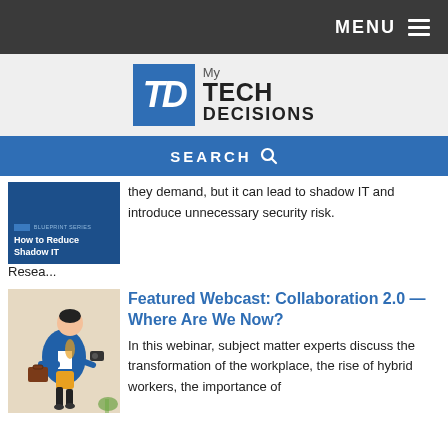MENU
[Figure (logo): My Tech Decisions logo with blue TD box and text]
SEARCH
[Figure (illustration): Blueprint Series cover: How to Reduce Shadow IT]
they demand, but it can lead to shadow IT and introduce unnecessary security risk. Resea...
[Figure (illustration): Illustration of a person in a blue jacket carrying a briefcase running]
Featured Webcast: Collaboration 2.0 — Where Are We Now?
In this webinar, subject matter experts discuss the transformation of the workplace, the rise of hybrid workers, the importance of